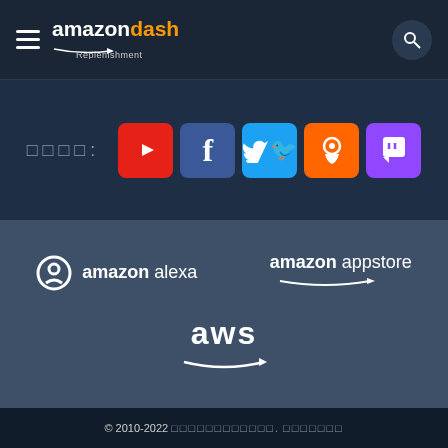amazon dash Replenishment
[Figure (logo): Social media icons: YouTube, Facebook, Twitter, Blog, Twitch with Japanese label]
[Figure (logo): Amazon Alexa logo, Amazon Appstore logo, and AWS logo on dark blue background]
© 2010-2022 [Japanese text redacted]. [Japanese text redacted]